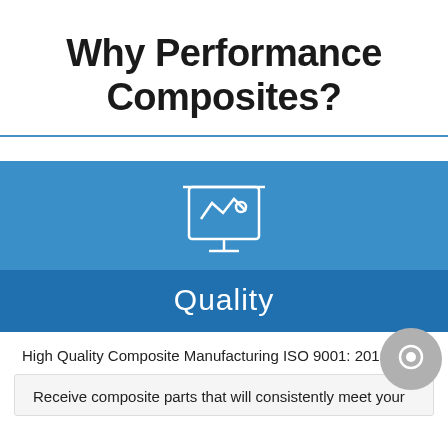Why Performance Composites?
[Figure (illustration): Presentation/chart board icon with zigzag line and circle, white outline on blue background, with 'Quality' label banner below]
High Quality Composite Manufacturing ISO 9001: 2015
Receive composite parts that will consistently meet your